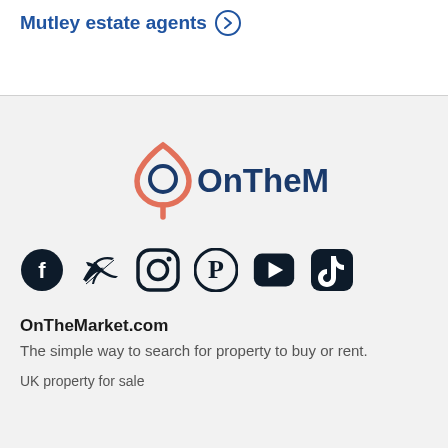Mutley estate agents →
[Figure (logo): OnTheMarket logo with map pin icon in coral/pink and dark blue text reading OnTheMarket]
[Figure (infographic): Row of social media icons: Facebook, Twitter, Instagram, Pinterest, YouTube, TikTok]
OnTheTheMarket.com
The simple way to search for property to buy or rent.
UK property for sale